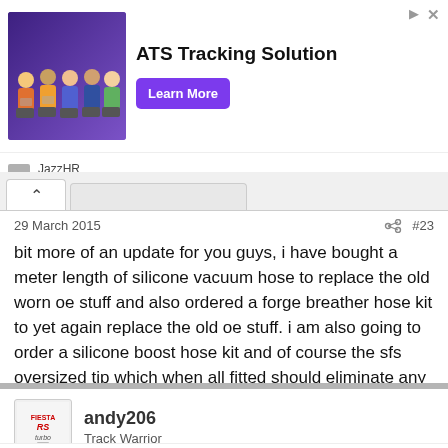[Figure (screenshot): Advertisement banner for JazzHR ATS Tracking Solution with a group photo of people sitting, a bold headline, and a purple 'Learn More' button]
[Figure (screenshot): Forum tab navigation area with a caret/up-arrow tab active]
29 March 2015
#23
bit more of an update for you guys, i have bought a meter length of silicone vacuum hose to replace the old worn oe stuff and also ordered a forge breather hose kit to yet again replace the old oe stuff. i am also going to order a silicone boost hose kit and of course the sfs oversized tip which when all fitted should eliminate any leaks what are potentially coming from those areas.
[Figure (logo): Fiesta RS Turbo forum avatar/logo]
andy206
Track Warrior
1 April 2015
#24
yesterday i received my uprated forge 007p desire valve, got this